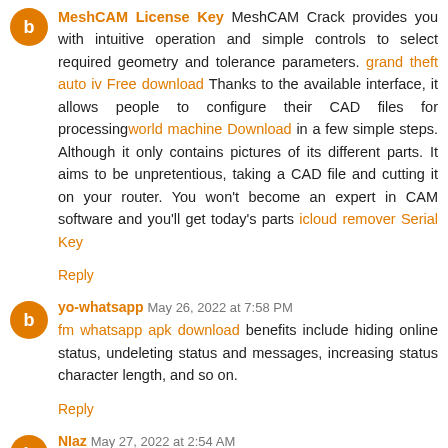MeshCAM License Key MeshCAM Crack provides you with intuitive operation and simple controls to select required geometry and tolerance parameters. grand theft auto iv Free download Thanks to the available interface, it allows people to configure their CAD files for processing world machine Download in a few simple steps. Although it only contains pictures of its different parts. It aims to be unpretentious, taking a CAD file and cutting it on your router. You won't become an expert in CAM software and you'll get today's parts icloud remover Serial Key
Reply
yo-whatsapp May 26, 2022 at 7:58 PM
fm whatsapp apk download benefits include hiding online status, undeleting status and messages, increasing status character length, and so on.
Reply
NIaz May 27, 2022 at 2:54 AM